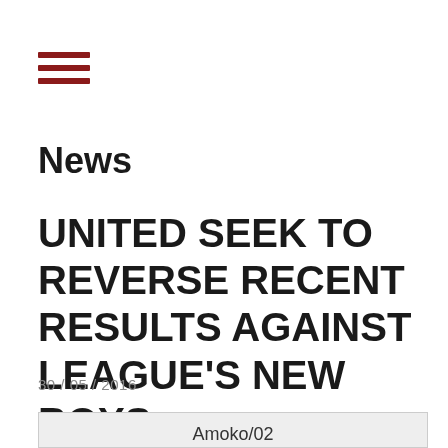[Figure (other): Hamburger menu icon with three dark red horizontal lines]
News
UNITED SEEK TO REVERSE RECENT RESULTS AGAINST LEAGUE'S NEW BOYS
30 / 05 / 2016
[Figure (photo): Image placeholder with caption Amoko/02]